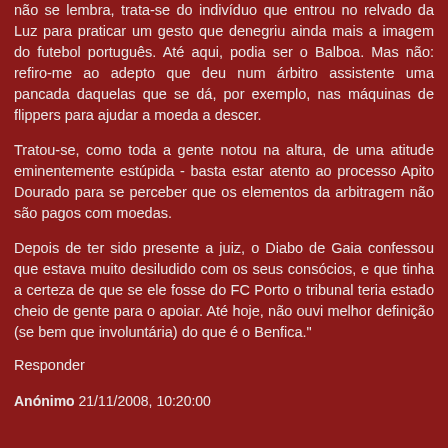não se lembra, trata-se do indivíduo que entrou no relvado da Luz para praticar um gesto que denegriu ainda mais a imagem do futebol português. Até aqui, podia ser o Balboa. Mas não: refiro-me ao adepto que deu num árbitro assistente uma pancada daquelas que se dá, por exemplo, nas máquinas de flippers para ajudar a moeda a descer.
Tratou-se, como toda a gente notou na altura, de uma atitude eminentemente estúpida - basta estar atento ao processo Apito Dourado para se perceber que os elementos da arbitragem não são pagos com moedas.
Depois de ter sido presente a juiz, o Diabo de Gaia confessou que estava muito desiludido com os seus consócios, e que tinha a certeza de que se ele fosse do FC Porto o tribunal teria estado cheio de gente para o apoiar. Até hoje, não ouvi melhor definição (se bem que involuntária) do que é o Benfica."
Responder
Anónimo 21/11/2008, 10:20:00